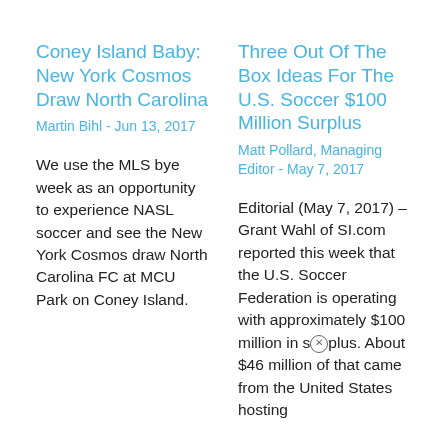Coney Island Baby: New York Cosmos Draw North Carolina
Martin Bihl - Jun 13, 2017
We use the MLS bye week as an opportunity to experience NASL soccer and see the New York Cosmos draw North Carolina FC at MCU Park on Coney Island.
Three Out Of The Box Ideas For The U.S. Soccer $100 Million Surplus
Matt Pollard, Managing Editor - May 7, 2017
Editorial (May 7, 2017) – Grant Wahl of SI.com reported this week that the U.S. Soccer Federation is operating with approximately $100 million in surplus. About $46 million of that came from the United States hosting...